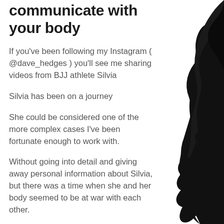communicate with your body
If you've been following my Instagram ( @dave_hedges ) you'll see me sharing videos from BJJ athlete Silvia
Silvia has been on a journey
She could be considered one of the more complex cases I've been fortunate enough to work with.
Without going into detail and giving away personal information about Silvia, but there was a time when she and her body seemed to be at war with each other.
[Figure (illustration): Black silhouette illustration of a female figure on the right side of the page]